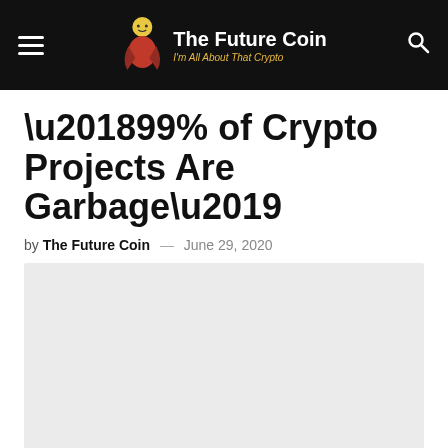The Future Coin — I'm All About That Crypto
‘99% of Crypto Projects Are Garbage’
by The Future Coin — June 29, 2020
[Figure (photo): Article featured image placeholder (light gray background)]
152